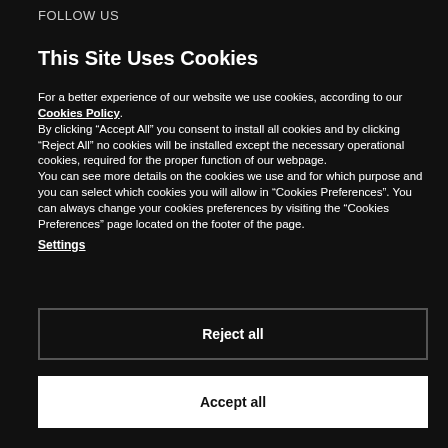FOLLOW US
This Site Uses Cookies
For a better experience of our website we use cookies, according to our Cookies Policy. By clicking “Accept All” you consent to install all cookies and by clicking “Reject All” no cookies will be installed except the necessary operational cookies, required for the proper function of our webpage. You can see more details on the cookies we use and for which purpose and you can select which cookies you will allow in “Cookies Preferences”. You can always change your cookies preferences by visiting the “Cookies Preferences” page located on the footer of the page.
Settings
Reject all
Accept all